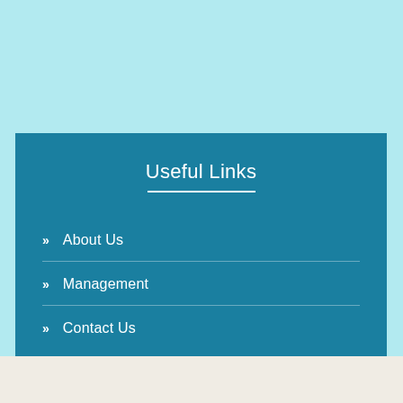Useful Links
About Us
Management
Contact Us